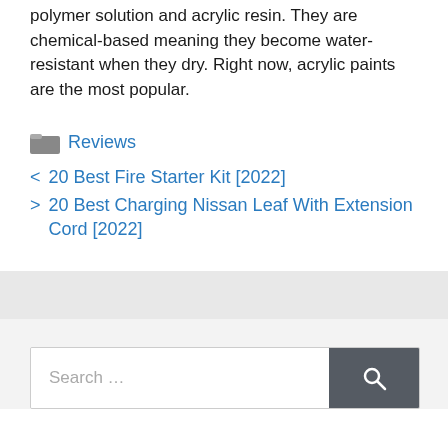polymer solution and acrylic resin. They are chemical-based meaning they become water-resistant when they dry. Right now, acrylic paints are the most popular.
Reviews
< 20 Best Fire Starter Kit [2022]
> 20 Best Charging Nissan Leaf With Extension Cord [2022]
Search ...